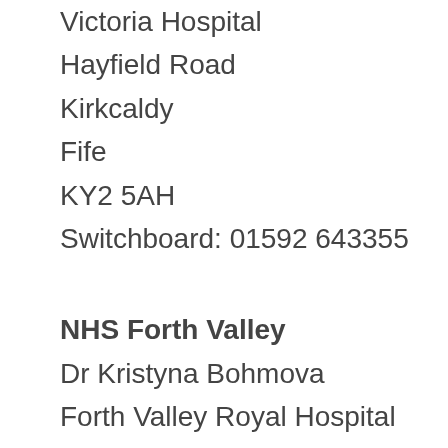Victoria Hospital
Hayfield Road
Kirkcaldy
Fife
KY2 5AH
Switchboard: 01592 643355
NHS Forth Valley
Dr Kristyna Bohmova
Forth Valley Royal Hospital